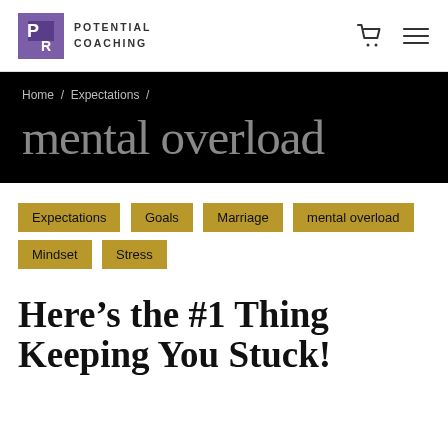PR POTENTIAL COACHING
Home / Expectations /
mental overload
Expectations
Goals
Marriage
mental overload
Mindset
Stress
Here’s the #1 Thing Keeping You Stuck!